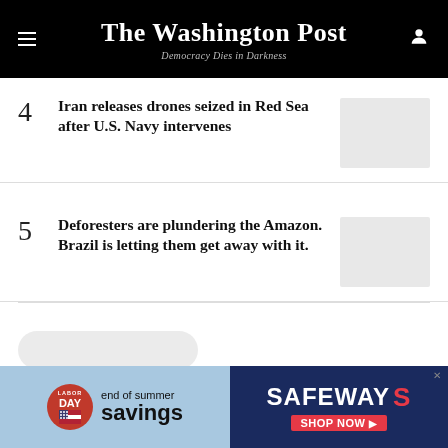The Washington Post — Democracy Dies in Darkness
4 Iran releases drones seized in Red Sea after U.S. Navy intervenes
5 Deforesters are plundering the Amazon. Brazil is letting them get away with it.
[Figure (other): Safeway Labor Day end of summer savings advertisement banner]
Advertisement: Safeway — end of summer savings — SHOP NOW